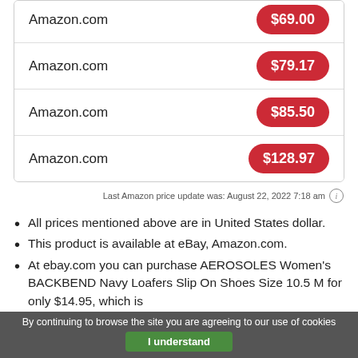| Store | Price |
| --- | --- |
| Amazon.com | $69.00 |
| Amazon.com | $79.17 |
| Amazon.com | $85.50 |
| Amazon.com | $128.97 |
Last Amazon price update was: August 22, 2022 7:18 am
All prices mentioned above are in United States dollar.
This product is available at eBay, Amazon.com.
At ebay.com you can purchase AEROSOLES Women's BACKBEND Navy Loafers Slip On Shoes Size 10.5 M for only $14.95, which is
By continuing to browse the site you are agreeing to our use of cookies